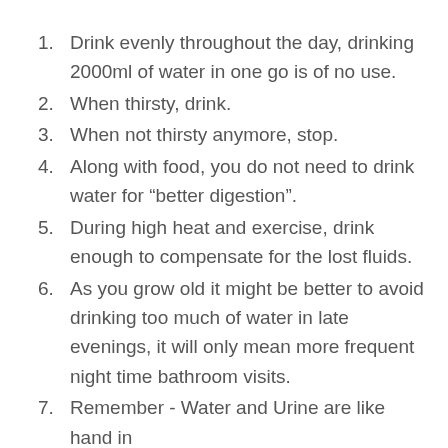Drink evenly throughout the day, drinking 2000ml of water in one go is of no use.
When thirsty, drink.
When not thirsty anymore, stop.
Along with food, you do not need to drink water for “better digestion”.
During high heat and exercise, drink enough to compensate for the lost fluids.
As you grow old it might be better to avoid drinking too much of water in late evenings, it will only mean more frequent night time bathroom visits.
Remember - Water and Urine are like hand in